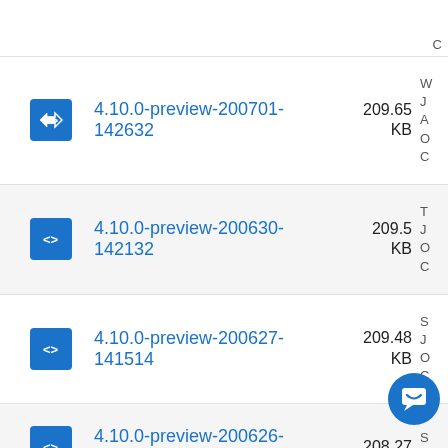4.10.0-preview-200701-142632  209.65 KB
4.10.0-preview-200630-142132  209.5 KB
4.10.0-preview-200627-141514  209.48 KB
4.10.0-preview-200626-141456  208.27